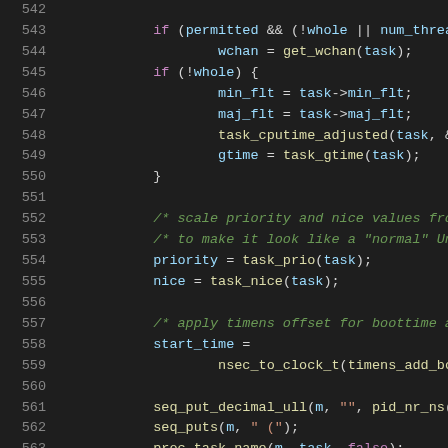[Figure (screenshot): Source code listing showing lines 542-563 of a C kernel file with syntax highlighting on dark background. Shows code related to process scheduling, priority, nice values, and timing.]